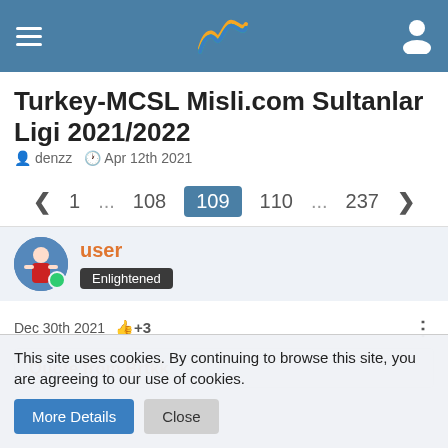Turkey-MCSL Misli.com Sultanlar Ligi 2021/2022 — site header with navigation
Turkey-MCSL Misli.com Sultanlar Ligi 2021/2022
denzz   Apr 12th 2021
< 1 ... 108 109 110 ... 237 >
user
Enlightened
Dec 30th 2021  👍+3
Quote from Brtkk
This site uses cookies. By continuing to browse this site, you are agreeing to our use of cookies.